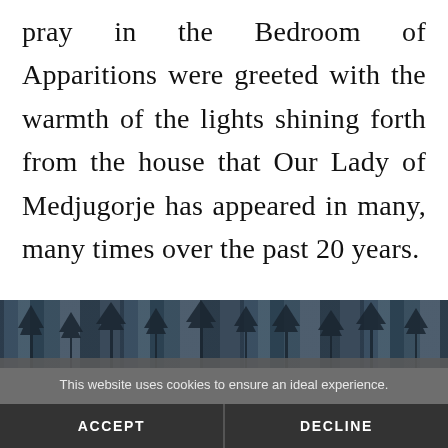pray in the Bedroom of Apparitions were greeted with the warmth of the lights shining forth from the house that Our Lady of Medjugorje has appeared in many, many times over the past 20 years.
[Figure (photo): Landscape photo strip showing silhouettes of bare winter trees against a grey-blue sky]
This website uses cookies to ensure an ideal experience.
ACCEPT
DECLINE